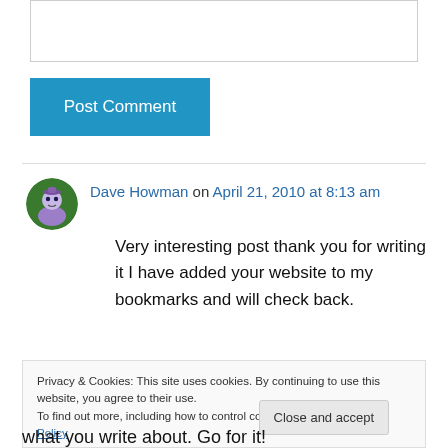[Figure (screenshot): Empty textarea input box for comment]
Post Comment
Dave Howman on April 21, 2010 at 8:13 am
[Figure (illustration): Avatar icon with alien/ufo figure on green circle background]
Very interesting post thank you for writing it I have added your website to my bookmarks and will check back.
Privacy & Cookies: This site uses cookies. By continuing to use this website, you agree to their use.
To find out more, including how to control cookies, see here: Cookie Policy
Close and accept
what you write about. Go for it!